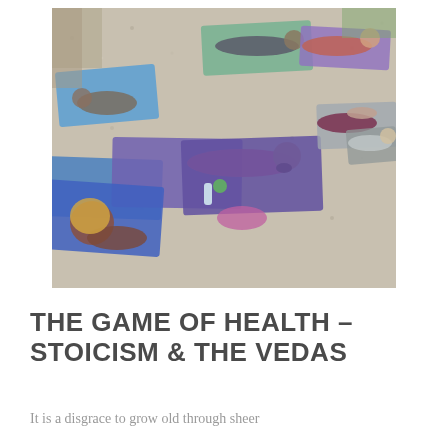[Figure (photo): Group of people doing yoga/exercise on colorful mats outdoors on a gravel/stone surface. Multiple participants in plank and child's pose positions on blue and purple yoga mats.]
THE GAME OF HEALTH – STOICISM & THE VEDAS
It is a disgrace to grow old through sheer